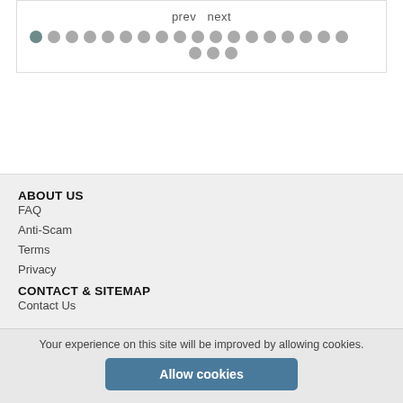[Figure (other): Pagination UI with prev/next navigation links and two rows of dot indicators, the first dot being active/selected (darker color).]
ABOUT US
FAQ
Anti-Scam
Terms
Privacy
CONTACT & SITEMAP
Contact Us
Your experience on this site will be improved by allowing cookies.
Allow cookies